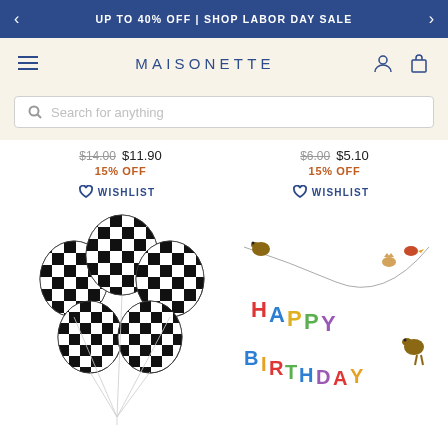UP TO 40% OFF | SHOP LABOR DAY SALE
[Figure (logo): Maisonette brand logo with hamburger menu, account and cart icons]
Search for anything
$14.00 $11.90 15% OFF
$6.00 $5.10 15% OFF
WISHLIST
WISHLIST
[Figure (photo): Black and white checkered pattern balloons, a bunch of 5 balloons with strings]
[Figure (photo): Happy Birthday banner with colorful letters and animal decorations on a string]